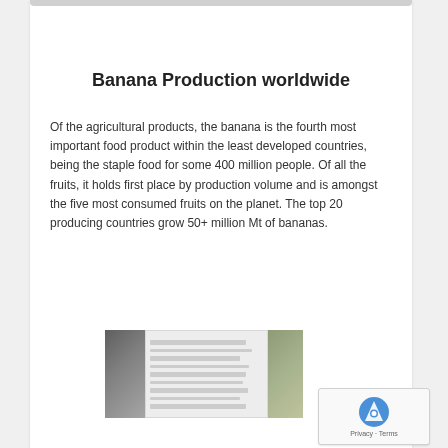Banana Production worldwide
Of the agricultural products, the banana is the fourth most important food product within the least developed countries, being the staple food for some 400 million people. Of all the fruits, it holds first place by production volume and is amongst the five most consumed fruits on the planet. The top 20 producing countries grow 50+ million Mt of bananas.
[Figure (photo): Composite image showing banana plant photo on the left, a data table in the center, and a banana leaf photo on the right.]